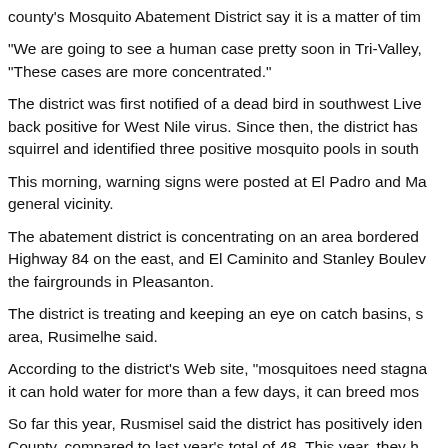county's Mosquito Abatement District say it is a matter of tim
"We are going to see a human case pretty soon in Tri-Valley, "These cases are more concentrated."
The district was first notified of a dead bird in southwest Live back positive for West Nile virus. Since then, the district has squirrel and identified three positive mosquito pools in south
This morning, warning signs were posted at El Padro and Ma general vicinity.
The abatement district is concentrating on an area bordered Highway 84 on the east, and El Caminito and Stanley Boulev the fairgrounds in Pleasanton.
The district is treating and keeping an eye on catch basins, s area, Rusimelhe said.
According to the district's Web site, "mosquitoes need stagna it can hold water for more than a few days, it can breed mos
So far this year, Rusmisel said the district has positively iden County, compared to last year's total of 48. This year, they h pools, two at the fairgrounds in Pleasanton.